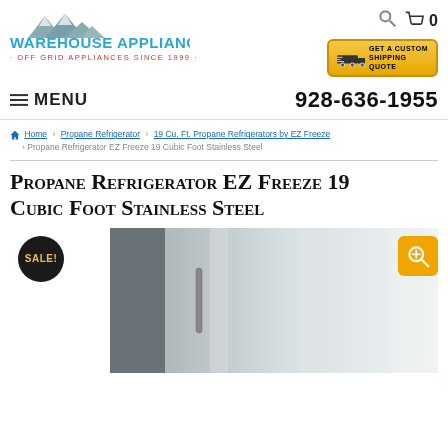[Figure (logo): Warehouse Appliance logo with mountain silhouette, teal text, red tagline 'Off Grid Appliances Since 1999']
[Figure (infographic): Get a Custom Shipping Quote button with truck icon on gold background]
≡ MENU   928-636-1955
Home › Propane Refrigerator › 19 Cu. Ft. Propane Refrigerators by EZ Freeze › Propane Refrigerator EZ Freeze 19 Cubic Foot Stainless Steel
Propane Refrigerator EZ Freeze 19 Cubic Foot Stainless Steel
[Figure (photo): Stainless steel propane refrigerator product photo with SALE! badge and zoom magnifier button]